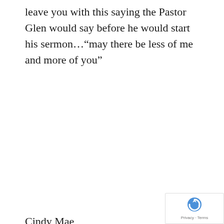leave you with this saying the Pastor Glen would say before he would start his sermon…“may there be less of me and more of you”
Cindy Mae
UNCATEGORIZED
Published June 29, 2022 by Mary Pat Kleven